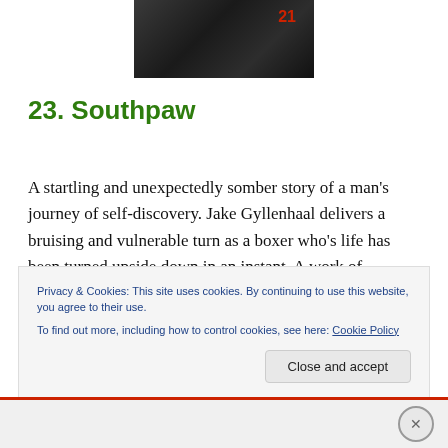[Figure (photo): Movie poster image, dark background with figure]
23. Southpaw
A startling and unexpectedly somber story of a man's journey of self-discovery. Jake Gyllenhaal delivers a bruising and vulnerable turn as a boxer who's life has been turned upside down in an instant. A work of immense heart and a testament to the power of courage, the role of
Privacy & Cookies: This site uses cookies. By continuing to use this website, you agree to their use.
To find out more, including how to control cookies, see here: Cookie Policy
Close and accept